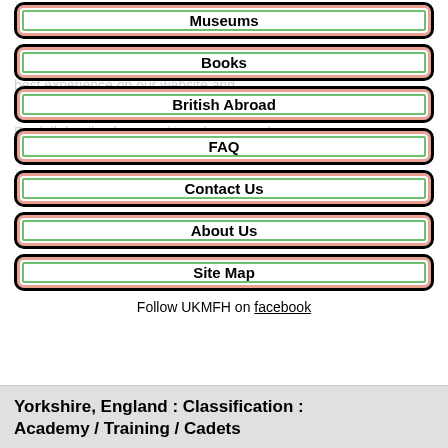Museums
Books
British Abroad
FAQ
Contact Us
About Us
Site Map
Follow UKMFH on facebook
Yorkshire, England : Classification : Academy / Training / Cadets